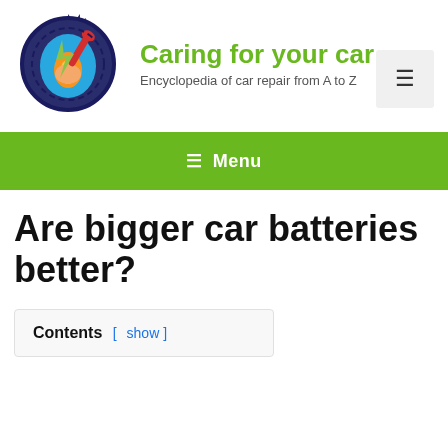[Figure (logo): Cartoon logo of a hand holding tools (wrench and lightning bolt) inside a gear and water-drop shape, colorful illustration]
Caring for your car
Encyclopedia of car repair from A to Z
[Figure (other): Hamburger menu toggle button (three horizontal lines) in a light grey box]
≡ Menu
Are bigger car batteries better?
Contents [ show ]